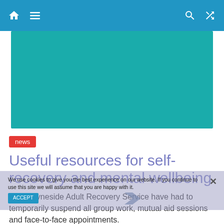Navigation bar with home, menu, search, and shuffle icons
[Figure (illustration): Teal/cyan hero banner image area]
news
Useful resources for self-recovery and mental wellbeing
South Tyneside Adult Recovery Service have had to temporarily suspend all group work, mutual aid sessions and face-to-face appointments.
We use cookies to give you the best experience on our website. If you continue to use this site we will assume that you are happy with it.